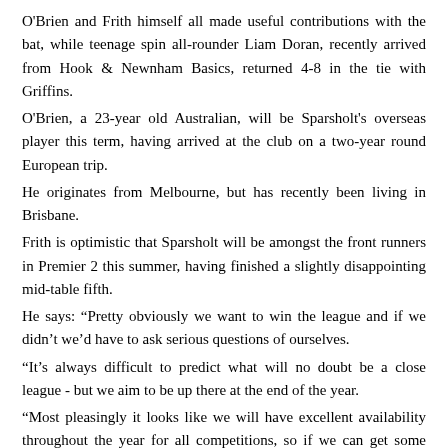O'Brien and Frith himself all made useful contributions with the bat, while teenage spin all-rounder Liam Doran, recently arrived from Hook & Newnham Basics, returned 4-8 in the tie with Griffins.
O'Brien, a 23-year old Australian, will be Sparsholt's overseas player this term, having arrived at the club on a two-year round European trip.
He originates from Melbourne, but has recently been living in Brisbane.
Frith is optimistic that Sparsholt will be amongst the front runners in Premier 2 this summer, having finished a slightly disappointing mid-table fifth.
He says: “Pretty obviously we want to win the league and if we didn’t we’d have to ask serious questions of ourselves.
“It’s always difficult to predict what will no doubt be a close league - but we aim to be up there at the end of the year.
“Most pleasingly it looks like we will have excellent availability throughout the year for all competitions, so if we can get some results going our way then I think we have every right to be really optimistic about our chances of playing some great cricket this year.”
Sparsholt’s Premier League Division 2 programme opener against